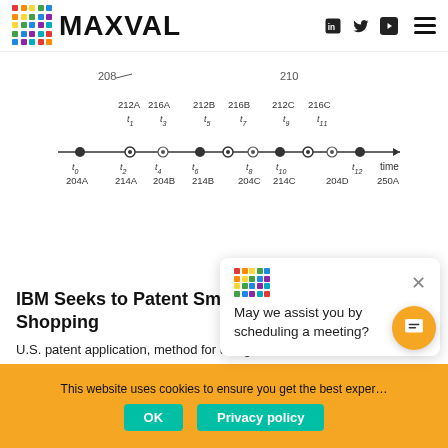MAXVAL
[Figure (engineering-diagram): Patent timeline diagram showing time axis with labeled points 204A, 214A, 204B, 214B, 204C, 214C, 204D and events 212A, 216A, 212B, 216B, 212C, 216C at time intervals t1 through t12, labeled 250A]
IBM Seeks to Patent Smart Contact Lens Based Shopping
U.S. patent application, method for using a smart contact lens in a shopping